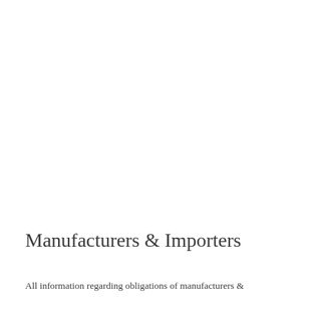Manufacturers & Importers
All information regarding obligations of manufacturers &